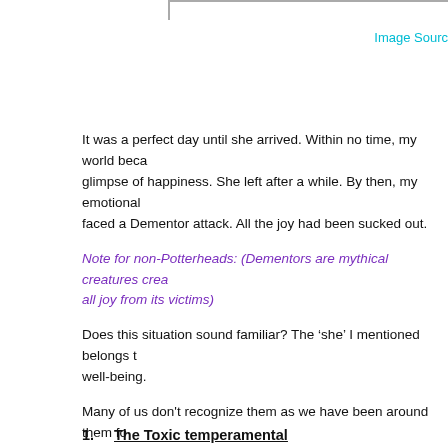Image Source
It was a perfect day until she arrived. Within no time, my world became glimpse of happiness. She left after a while. By then, my emotional faced a Dementor attack. All the joy had been sucked out.
Note for non-Potterheads: (Dementors are mythical creatures created all joy from its victims)
Does this situation sound familiar? The ‘she’ I mentioned belongs to well-being.
Many of us don't recognize them as we have been around them for spouse, a sibling, a cousin— they can be anyone. We accept their
They come in many hues. Let me list eight such toxic people whom
1. The Toxic temperamental